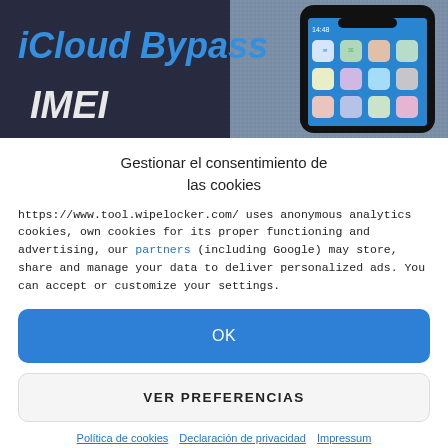[Figure (photo): Hero banner image showing iCloud Bypass IMEI text overlay on a background with a smartphone displaying iOS app icons on a fabric surface]
Gestionar el consentimiento de las cookies
https://www.tool.wipelocker.com/ uses anonymous analytics cookies, own cookies for its proper functioning and advertising, our partners (including Google) may store, share and manage your data to deliver personalized ads. You can accept or customize your settings.
OK
VER PREFERENCIAS
Política de cookies   Declaración de privacidad   Impressum